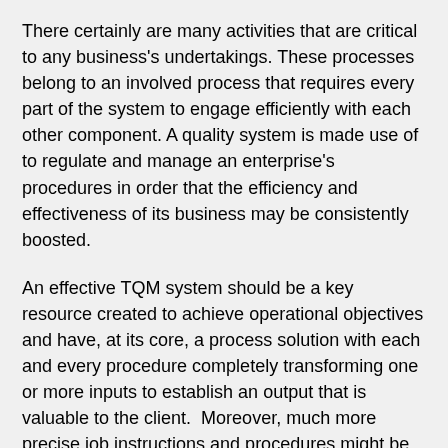There certainly are many activities that are critical to any business's undertakings. These processes belong to an involved process that requires every part of the system to engage efficiently with each other component. A quality system is made use of to regulate and manage an enterprise's procedures in order that the efficiency and effectiveness of its business may be consistently boosted.
An effective TQM system should be a key resource created to achieve operational objectives and have, at its core, a process solution with each and every procedure completely transforming one or more inputs to establish an output that is valuable to the client.  Moreover, much more precise job instructions and procedures might be established just to assist with major business processes. That is very true as soon as it's vital to tightly designate particular task delivery processes.